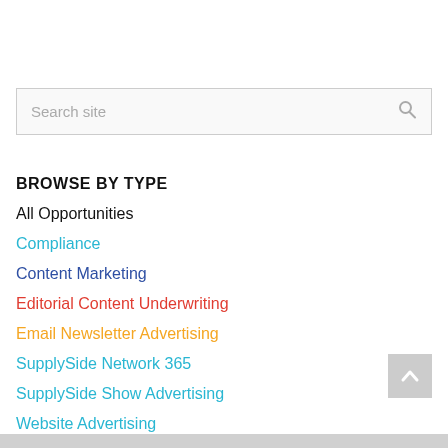Search site
BROWSE BY TYPE
All Opportunities
Compliance
Content Marketing
Editorial Content Underwriting
Email Newsletter Advertising
SupplySide Network 365
SupplySide Show Advertising
Website Advertising